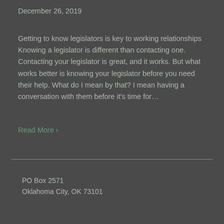December 26, 2019
Getting to know legislators is key to working relationships Knowing a legislator is different than contacting one. Contacting your legislator is great, and it works. But what works better is knowing your legislator before you need their help. What do I mean by that? I mean having a conversation with them before it's time for…
Read More ›
PO Box 2571
Oklahoma City, OK 73101